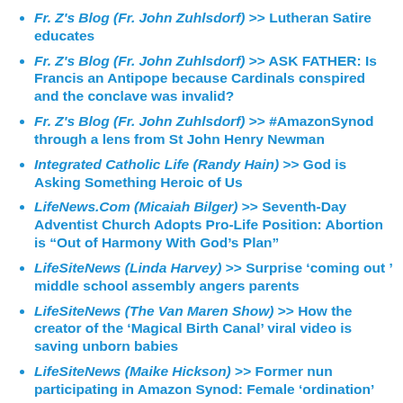Fr. Z's Blog (Fr. John Zuhlsdorf) >> Lutheran Satire educates
Fr. Z's Blog (Fr. John Zuhlsdorf) >> ASK FATHER: Is Francis an Antipope because Cardinals conspired and the conclave was invalid?
Fr. Z's Blog (Fr. John Zuhlsdorf) >> #AmazonSynod through a lens from St John Henry Newman
Integrated Catholic Life (Randy Hain) >> God is Asking Something Heroic of Us
LifeNews.Com (Micaiah Bilger) >> Seventh-Day Adventist Church Adopts Pro-Life Position: Abortion is “Out of Harmony With God’s Plan”
LifeSiteNews (Linda Harvey) >> Surprise ‘coming out ’ middle school assembly angers parents
LifeSiteNews (The Van Maren Show) >> How the creator of the ‘Magical Birth Canal’ viral video is saving unborn babies
LifeSiteNews (Maike Hickson) >> Former nun participating in Amazon Synod: Female ‘ordination’